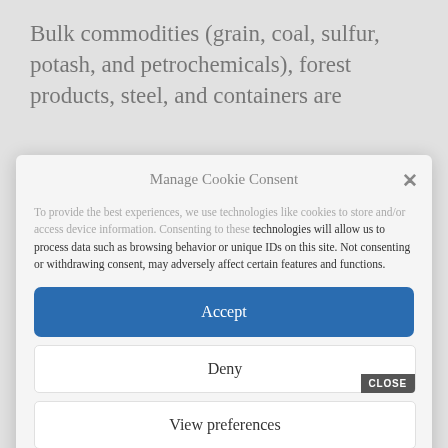Bulk commodities (grain, coal, sulfur, potash, and petrochemicals), forest products, steel, and containers are
Manage Cookie Consent
To provide the best experiences, we use technologies like cookies to store and/or access device information. Consenting to these technologies will allow us to process data such as browsing behavior or unique IDs on this site. Not consenting or withdrawing consent, may adversely affect certain features and functions.
Accept
Deny
View preferences
Privacy Page